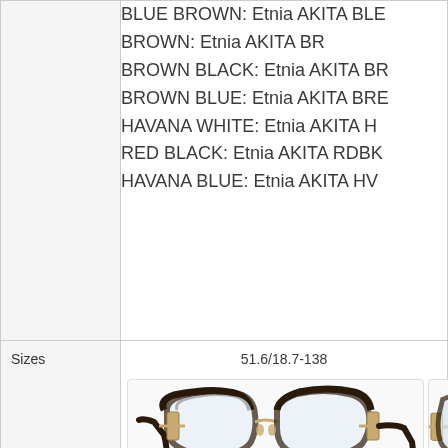| Attribute | Value |
| --- | --- |
|  | BLUE BROWN: Etnia AKITA BLE... |
|  | BROWN: Etnia AKITA BR |
|  | BROWN BLACK: Etnia AKITA BR... |
|  | BROWN BLUE: Etnia AKITA BRE... |
|  | HAVANA WHITE: Etnia AKITA H... |
|  | RED BLACK: Etnia AKITA RDBK... |
|  | HAVANA BLUE: Etnia AKITA HV... |
| Sizes | 51.6/18.7-138 |
[Figure (illustration): Eyeglasses frame shown from side angle with green double-headed arrow indicating lens width measurement of 51.6 mm. A second partially visible frame appears to the right.]
51.6 mm